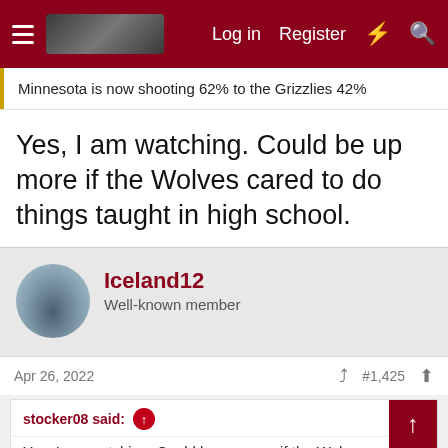Log in  Register
Minnesota is now shooting 62% to the Grizzlies 42%
Yes, I am watching. Could be up more if the Wolves cared to do things taught in high school.
Iceland12
Well-known member
Apr 26, 2022  #1,425
stocker08 said:
Yes, I am watching. Could be up more if the Wolves cared to do things taught in high school.
And looking at your first post they should be doing by 30 a now.